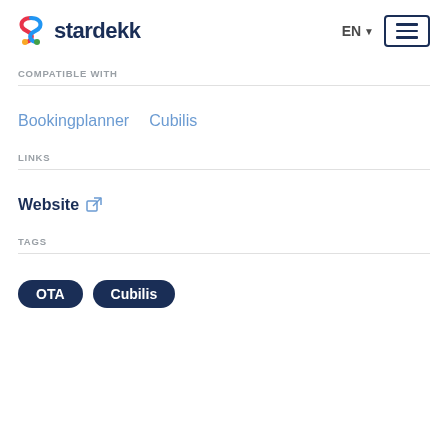stardekk  EN  [hamburger menu]
COMPATIBLE WITH
Bookingplanner  Cubilis
LINKS
Website [external link icon]
TAGS
OTA  Cubilis